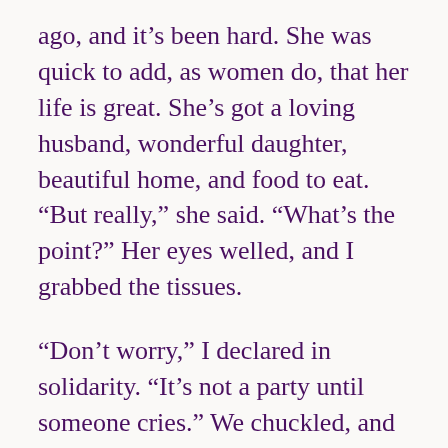ago, and it’s been hard. She was quick to add, as women do, that her life is great. She’s got a loving husband, wonderful daughter, beautiful home, and food to eat. “But really,” she said. “What’s the point?” Her eyes welled, and I grabbed the tissues.
“Don’t worry,” I declared in solidarity. “It’s not a party until someone cries.” We chuckled, and I was glad she asked.